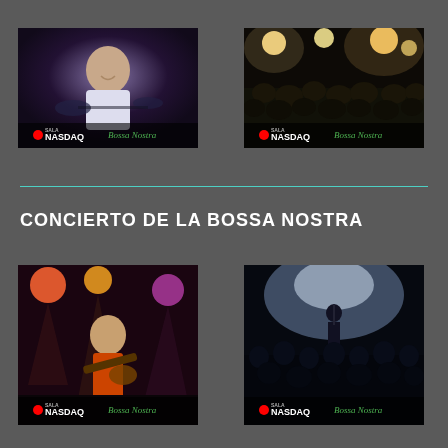[Figure (photo): Concert photo: close-up of a male musician playing drums in a dark venue with blue/purple lighting, overlay logos 'Sala NASDAQ' and 'Bossa Nostra']
[Figure (photo): Concert photo: crowd shot from behind in a dark venue with bright stage lights and yellow ceiling lights, overlay logos 'Sala NASDAQ' and 'Bossa Nostra']
CONCIERTO DE LA BOSSA NOSTRA
[Figure (photo): Concert photo: guitarist performing on stage with red and orange stage lights, overlay logos 'Sala NASDAQ' and 'Bossa Nostra']
[Figure (photo): Concert photo: silhouetted audience watching a performer on a lit stage with white/blue spotlights, overlay logos 'Sala NASDAQ' and 'Bossa Nostra']